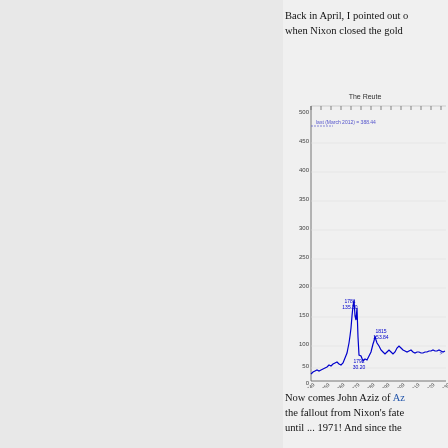Back in April, I pointed out o... when Nixon closed the gold...
[Figure (continuous-plot): Line chart showing historical data from approximately 1749 to 1839. Y-axis ranges from 0 to 500. The chart is labeled 'The Reuter...' and shows a blue line with several notable peaks. Annotations include: '1781, 135.30', '1815, 153.84', '1792, 30.20', and 'last (March 2012) = 388.44'. The line starts low around 20, spikes sharply around 1781 to ~135, drops back, spikes again around 1815 to ~110, then oscillates at lower levels.]
Now comes John Aziz of Az... the fallout from Nixon's fate... until ... 1971! And since the...